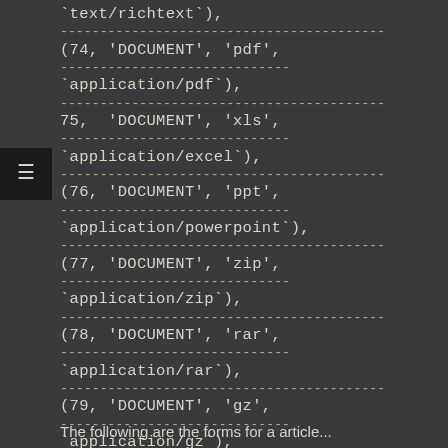text/richtext'),
(74, 'DOCUMENT', 'pdf', 'application/pdf'),
75, 'DOCUMENT', 'xls', 'application/excel'),
(76, 'DOCUMENT', 'ppt', 'application/powerpoint'),
(77, 'DOCUMENT', 'zip', 'application/zip'),
(78, 'DOCUMENT', 'rar', 'application/rar'),
(79, 'DOCUMENT', 'gz', 'application/gz'),
(80, 'DOCUMENT', 'mdb', 'application/msaccess');
The following are the forms for article...